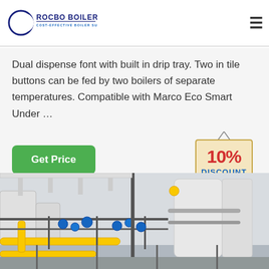[Figure (logo): Rocbo Boiler logo with crescent moon graphic and text ROCBO BOILER / COST-EFFECTIVE BOILER SUPPLIER in blue and dark blue]
Dual dispense font with built in drip tray. Two in tile buttons can be fed by two boilers of separate temperatures. Compatible with Marco Eco Smart Under …
[Figure (illustration): Green Get Price button on the left and a 10% DISCOUNT badge/sign hanging on the right]
[Figure (photo): Industrial boiler room with yellow pipes, blue valves, metal railings and white equipment]